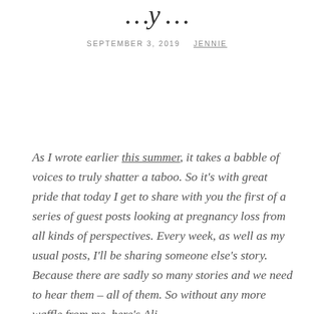…y …
SEPTEMBER 3, 2019   JENNIE
As I wrote earlier this summer, it takes a babble of voices to truly shatter a taboo. So it's with great pride that today I get to share with you the first of a series of guest posts looking at pregnancy loss from all kinds of perspectives. Every week, as well as my usual posts, I'll be sharing someone else's story. Because there are sadly so many stories and we need to hear them – all of them. So without any more waffle from me, here's Ali…